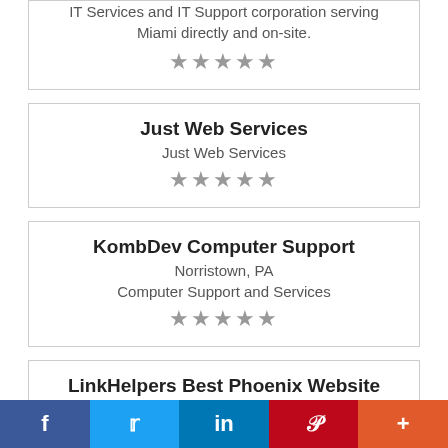IT Services and IT Support corporation serving Miami directly and on-site.
★★★★★
Just Web Services
Just Web Services
★★★★★
KombDev Computer Support
Norristown, PA
Computer Support and Services
★★★★★
LinkHelpers Best Phoenix Website Design
Phoenix, AZ
LinkHelpers Best Phoenix Website Design
f  Twitter  in  Pinterest  +